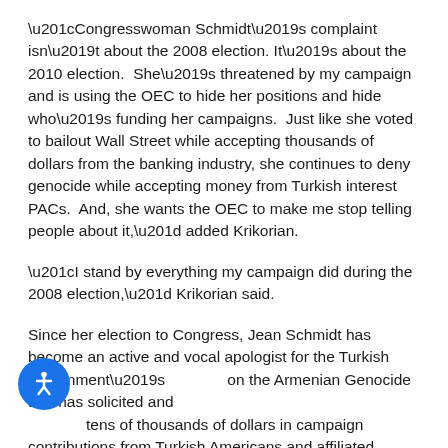“Congresswoman Schmidt’s complaint isn’t about the 2008 election. It’s about the 2010 election.  She’s threatened by my campaign and is using the OEC to hide her positions and hide who’s funding her campaigns.  Just like she voted to bailout Wall Street while accepting thousands of dollars from the banking industry, she continues to deny genocide while accepting money from Turkish interest PACs.  And, she wants the OEC to make me stop telling people about it,” added Krikorian.
“I stand by everything my campaign did during the 2008 election,” Krikorian said.
Since her election to Congress, Jean Schmidt has become an active and vocal apologist for the Turkish government’s [position] on the Armenian Genocide and has solicited and [received] tens of thousands of dollars in campaign contributions from Turkish Americans and affiliated political
[Figure (other): Blue circular accessibility button with white person/wheelchair icon]